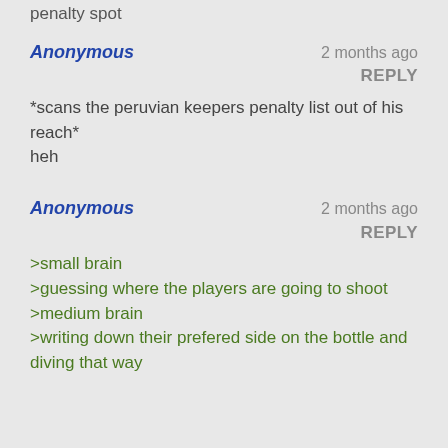penalty spot
Anonymous
2 months ago
REPLY
*scans the peruvian keepers penalty list out of his reach*
heh
Anonymous
2 months ago
REPLY
>small brain
>guessing where the players are going to shoot
>medium brain
>writing down their prefered side on the bottle and diving that way